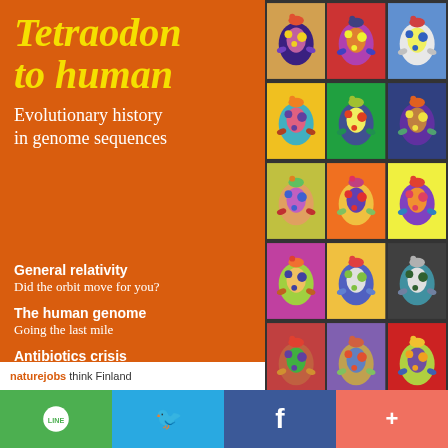Tetraodon to human
Evolutionary history in genome sequences
[Figure (illustration): Grid of 15 colorful pop-art style pufferfish (Tetraodon) illustrations in various bright color combinations arranged in a 3×5 grid]
General relativity — Did the orbit move for you?
The human genome — Going the last mile
Antibiotics crisis — Market forces fail to deliver
Medical ethics — Choosing deafness
naturejobs think Finland
[Figure (logo): Social sharing bar with LINE (green), Twitter (blue), Facebook (dark blue), and more (+) button (salmon/red)]